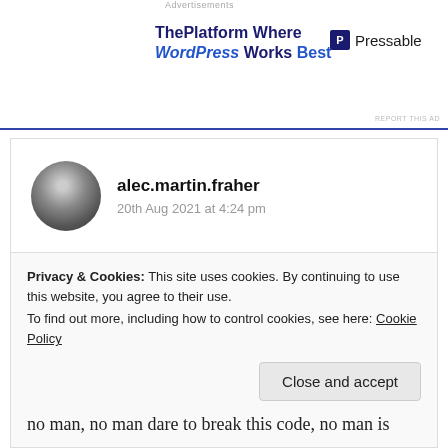Advertisements
[Figure (other): Advertisement banner: ThePlatform Where WordPress Works Best — Pressable logo]
REPORT THIS AD
alec.martin.fraher
20th Aug 2021 at 4:24 pm
behind the facade of manhood,
abandoned rainbows wilt,
few drops drowned no respect to be found,
yet man he makes no sound
Privacy & Cookies: This site uses cookies. By continuing to use this website, you agree to their use.
To find out more, including how to control cookies, see here: Cookie Policy
Close and accept
no man, no man dare to break this code, no man is